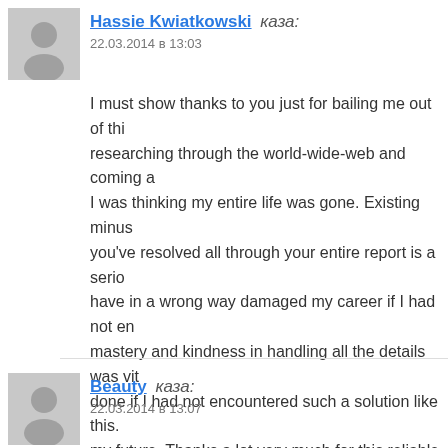Hassie Kwiatkowski каза:
22.03.2014 в 13:03
I must show thanks to you just for bailing me out of thi... researching through the world-wide-web and coming a... I was thinking my entire life was gone. Existing minus... you've resolved all through your entire report is a serio... have in a wrong way damaged my career if I had not en... mastery and kindness in handling all the details was vit... done if I had not encountered such a solution like this.... my future. Thanks a lot very much for this reliable and... think twice to suggest the website to any person who ne... matter.
Отговор
Beauty каза:
22.03.2014 в 13:07